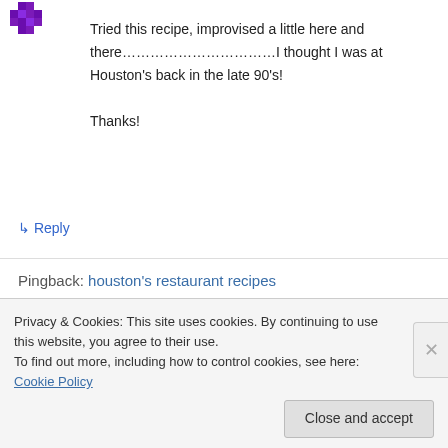[Figure (logo): Purple pixelated avatar icon in top-left corner]
Tried this recipe, improvised a little here and there…………………………I thought I was at Houston's back in the late 90's!

Thanks!
↳ Reply
Pingback: houston's restaurant recipes
[Figure (logo): Purple pixelated avatar icon, partially visible]
Privacy & Cookies: This site uses cookies. By continuing to use this website, you agree to their use.
To find out more, including how to control cookies, see here: Cookie Policy
Close and accept